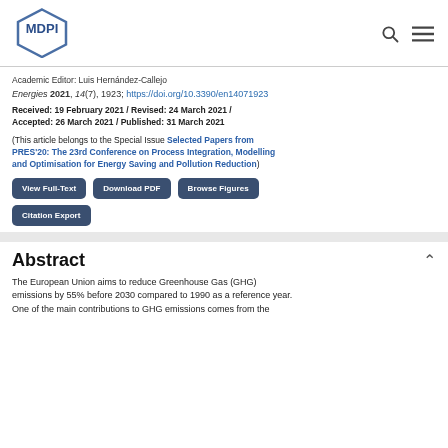[Figure (logo): MDPI hexagon logo]
Academic Editor: Luis Hernández-Callejo
Energies 2021, 14(7), 1923; https://doi.org/10.3390/en14071923
Received: 19 February 2021 / Revised: 24 March 2021 / Accepted: 26 March 2021 / Published: 31 March 2021
(This article belongs to the Special Issue Selected Papers from PRES'20: The 23rd Conference on Process Integration, Modelling and Optimisation for Energy Saving and Pollution Reduction)
View Full-Text | Download PDF | Browse Figures | Citation Export
Abstract
The European Union aims to reduce Greenhouse Gas (GHG) emissions by 55% before 2030 compared to 1990 as a reference year. One of the main contributions to GHG emissions comes from the